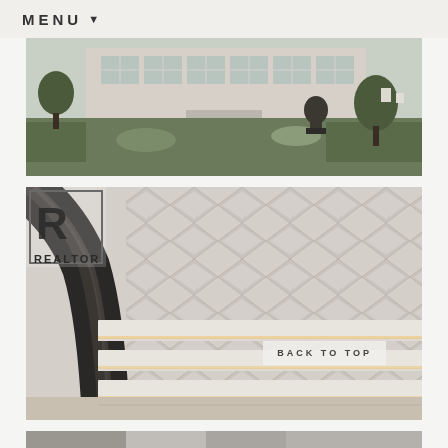MENU
[Figure (photo): Exterior garden view of a classic house with manicured hedges, flower beds, and a bronze sculpture on a pedestal. White-framed windows visible in background.]
[Figure (photo): Luxury interior staircase with dark curved metal railing and white marble/stone steps with under-step lighting, against a patterned geometric tile wall.]
[Figure (photo): Partial view of another interior photo at bottom of page.]